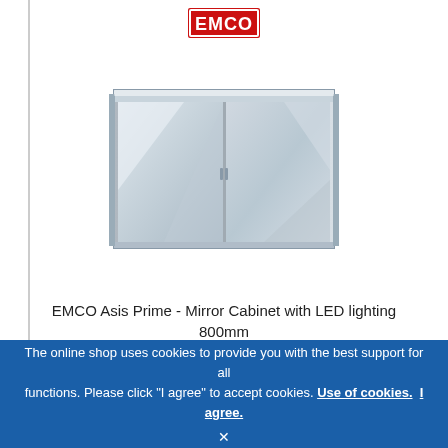[Figure (logo): EMCO logo — red rectangular border with white 'EMCO' text in bold]
[Figure (photo): EMCO Asis Prime mirror cabinet with LED lighting, 800mm wide, two-door stainless steel medicine cabinet with mirrored front doors and illuminated top edge, shown in 3/4 perspective view]
EMCO Asis Prime - Mirror Cabinet with LED lighting 800mm
The online shop uses cookies to provide you with the best support for all functions. Please click "I agree" to accept cookies. Use of cookies. I agree.